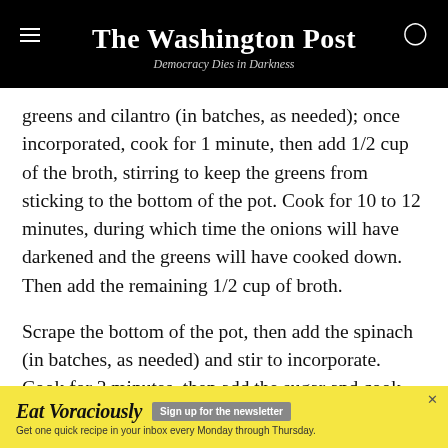The Washington Post
Democracy Dies in Darkness
greens and cilantro (in batches, as needed); once incorporated, cook for 1 minute, then add 1/2 cup of the broth, stirring to keep the greens from sticking to the bottom of the pot. Cook for 10 to 12 minutes, during which time the onions will have darkened and the greens will have cooked down. Then add the remaining 1/2 cup of broth.
Scrape the bottom of the pot, then add the spinach (in batches, as needed) and stir to incorporate. Cook for 3 minutes, then add the sugar and cook for 1 minute, stirring. Taste, and adjust seasoning as needed. Transfer
[Figure (infographic): Advertisement banner for 'Eat Voraciously' newsletter with yellow background. Text reads: 'Eat Voraciously' with a grey 'Sign up for the newsletter' button. Subtext: 'Get one quick recipe in your inbox every Monday through Thursday.']